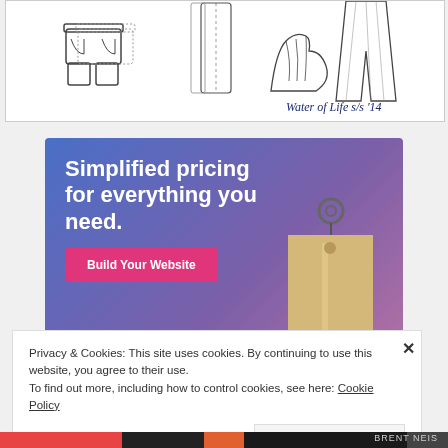[Figure (illustration): Fashion illustration showing clothing items: shorts, trousers, sneakers, and pants/trousers in line-art style. Handwritten text reads 'Water of Life s/s '14' in bottom right.]
[Figure (infographic): Advertisement banner with gradient blue-purple background. Large white bold text: 'Simplified pricing for everything you need.' Pink/magenta button labeled 'Build Your Website'. A 3D tan price tag with metal ring on the right side.]
Privacy & Cookies: This site uses cookies. By continuing to use this website, you agree to their use.
To find out more, including how to control cookies, see here: Cookie Policy
Close and accept